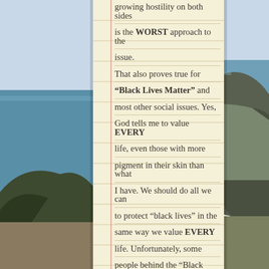[Figure (photo): Coastal landscape photograph showing ocean, hillside with vegetation, and mountains in the background, serving as the page background behind a centered notebook overlay.]
growing hostility on both sides is the WORST approach to the issue. That also proves true for "Black Lives Matter" and most other social issues. Yes, God tells me to value EVERY life, even those with more pigment in their skin than what I have. We should do all we can to protect "black lives" in the same way we value EVERY life. Unfortunately, some people behind the "Black Lives Matter" movement are using it to complain about everything and attack everyone. They